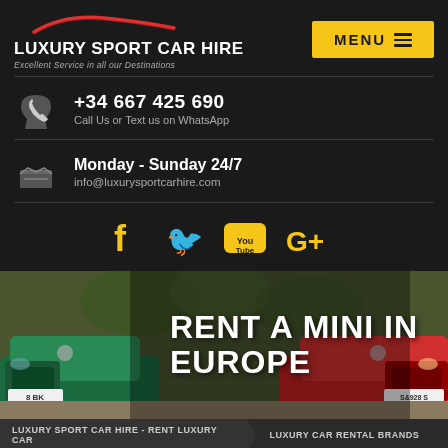[Figure (logo): Luxury Sport Car Hire logo with red car silhouette SVG on dark background, tagline: Excellent Service in all our Destinations]
MENU
+34 667 425 690
Call Us or Text us on WhatsApp
Monday - Sunday 24/7
info@luxurysportcarhire.com
[Figure (infographic): Social media icons: Facebook, Twitter, YouTube, Google+ in golden/yellow color]
[Figure (photo): Two MINI cars facing each other - green on left and red on right with text RENT A MINI IN EUROPE overlaid]
LUXURY SPORT CAR HIRE - RENT LUXURY CAR
LUXURY CAR RENTAL BRANDS